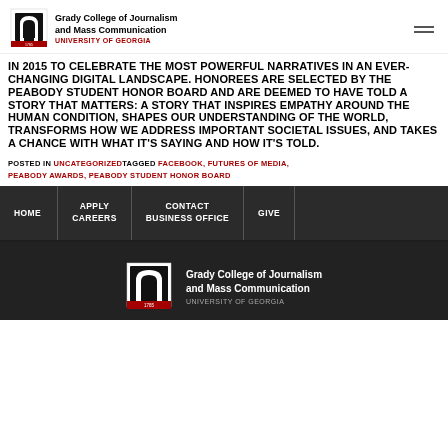[Figure (logo): Grady College of Journalism and Mass Communication, University of Georgia logo with arch icon]
Grady College of Journalism and Mass Communication UNIVERSITY OF GEORGIA
IN 2015 TO CELEBRATE THE MOST POWERFUL NARRATIVES IN AN EVER-CHANGING DIGITAL LANDSCAPE. HONOREES ARE SELECTED BY THE PEABODY STUDENT HONOR BOARD AND ARE DEEMED TO HAVE TOLD A STORY THAT MATTERS: A STORY THAT INSPIRES EMPATHY AROUND THE HUMAN CONDITION, SHAPES OUR UNDERSTANDING OF THE WORLD, TRANSFORMS HOW WE ADDRESS IMPORTANT SOCIETAL ISSUES, AND TAKES A CHANCE WITH WHAT IT'S SAYING AND HOW IT'S TOLD.
POSTED IN UNCATEGORIZEDTAGGED FACEBOOK, FUTURES OF MEDIA, PEABODY AWARDS, PEABODY STUDENT HONOR BOARD
HOME | APPLY CAREERS | CONTACT BUSINESS OFFICE | GIVE
[Figure (logo): Grady College of Journalism and Mass Communication, University of Georgia footer logo]